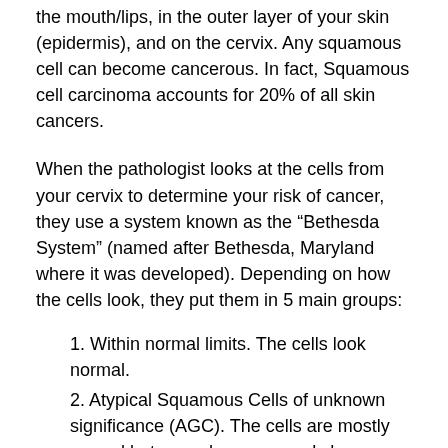the mouth/lips, in the outer layer of your skin (epidermis), and on the cervix. Any squamous cell can become cancerous. In fact, Squamous cell carcinoma accounts for 20% of all skin cancers.
When the pathologist looks at the cells from your cervix to determine your risk of cancer, they use a system known as the “Bethesda System” (named after Bethesda, Maryland where it was developed). Depending on how the cells look, they put them in 5 main groups:
1. Within normal limits. The cells look normal.
2. Atypical Squamous Cells of unknown significance (AGC). The cells are mostly normal but some have unusual shapes, colors or sizes.
3. Low-grade squamous intraepithelial lesion (low-grade SIL). Some abnormal cells but cancer is rare.